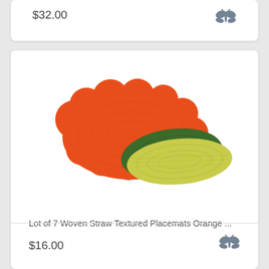$32.00
[Figure (photo): Lot of 7 woven straw textured placemats in orange, green, and yellow-green colors stacked together]
Lot of 7 Woven Straw Textured Placemats Orange ...
$16.00